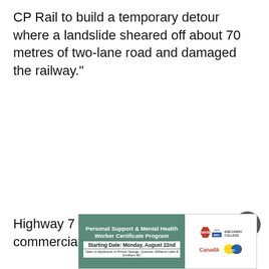CP Rail to build a temporary detour where a landslide sheared off about 70 metres of two-lane road and damaged the railway."
Highway 7 has been reopened to commercial trucks and
[Figure (infographic): Advertisement banner for Personal Support & Mental Health Worker Certificate Program. Starting Date: Monday, August 22nd. Open to Applicants in Prince George, Quesnel, Williams Lake & Smithers BC. Logos: AWARE, DCC Discovery College, Canada, British Columbia.]